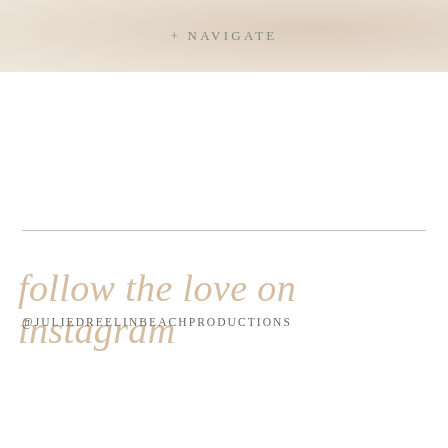+ NAVIGATE
follow the love on instagram
@JULIEDREELINBEACHPRODUCTIONS